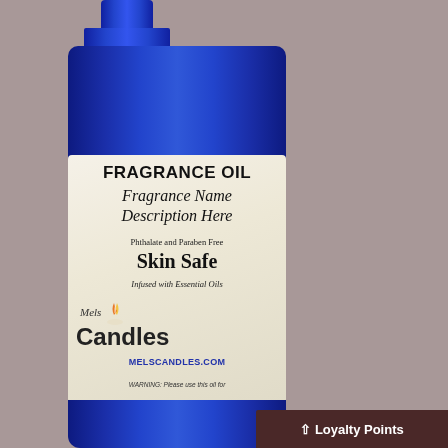[Figure (photo): Blue glass bottle of fragrance oil with a white label. The label reads: FRAGRANCE OIL, Fragrance Name, Description Here, Phthalate and Paraben Free, Skin Safe, Infused with Essential Oils, Mels Candles logo, MELSCANDLES.COM, WARNING: Please use this oil for external use only. Do not ingest. A dark brown Loyalty Points bar appears at the bottom right corner.]